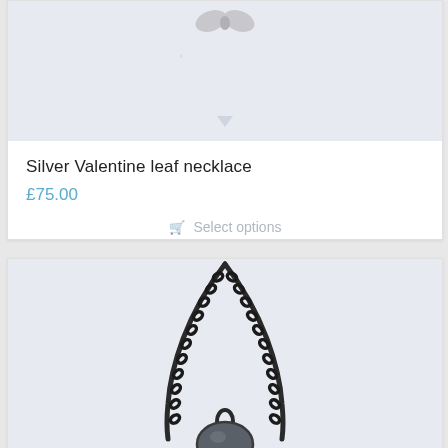[Figure (photo): Close-up photo of a silver Valentine leaf necklace pendant on a light lavender/grey background — partially cropped at top]
Silver Valentine leaf necklace
£75.00
Select options
[Figure (photo): Photo of a dark oxidised silver chain necklace with a grey/dark oval stone pendant, on a light lavender background — cropped at bottom]